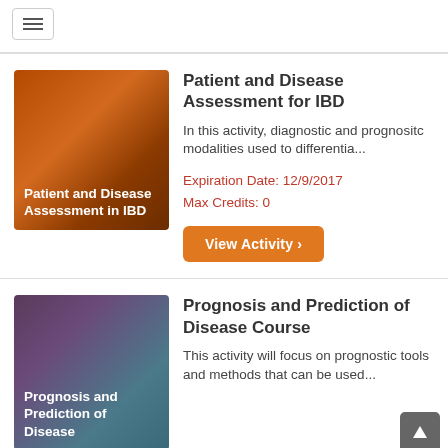[Figure (screenshot): Hamburger menu icon button in top left corner]
[Figure (illustration): Thumbnail image for 'Patient and Disease Assessment in IBD' with orange/brown background and white text]
Patient and Disease Assessment for IBD
In this activity, diagnostic and prognositc modalities used to differentia...
Expiration Date: 12/9/2017
Max Credits: 0
View Activity ›
[Figure (illustration): Thumbnail image for 'Prognosis and Prediction of Disease' with purple/teal gradient background and white text]
Prognosis and Prediction of Disease Course
This activity will focus on prognostic tools and methods that can be used...